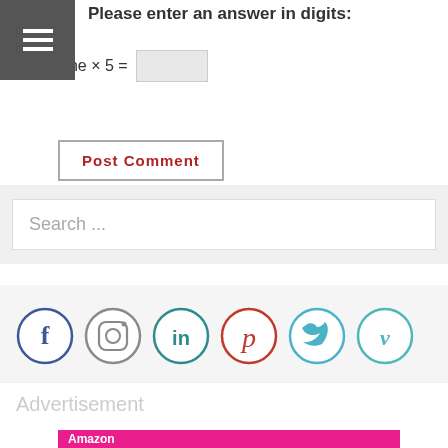Please enter an answer in digits:
Post Comment
Search ...
[Figure (infographic): Social media icons: Facebook, Instagram, LinkedIn, Pinterest, Twitter, Vine — each in a circle]
Advertisement
[Figure (infographic): Amazon advertisement banner in pink with white text 'Amazon']